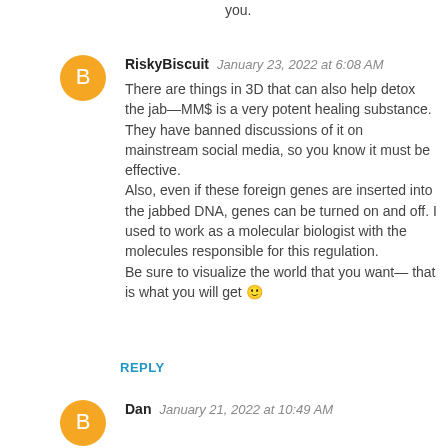you.
RiskyBiscuit   January 23, 2022 at 6:08 AM
There are things in 3D that can also help detox the jab—MM$ is a very potent healing substance. They have banned discussions of it on mainstream social media, so you know it must be effective.
Also, even if these foreign genes are inserted into the jabbed DNA, genes can be turned on and off. I used to work as a molecular biologist with the molecules responsible for this regulation.
Be sure to visualize the world that you want— that is what you will get 🙂
REPLY
Dan   January 21, 2022 at 10:49 AM